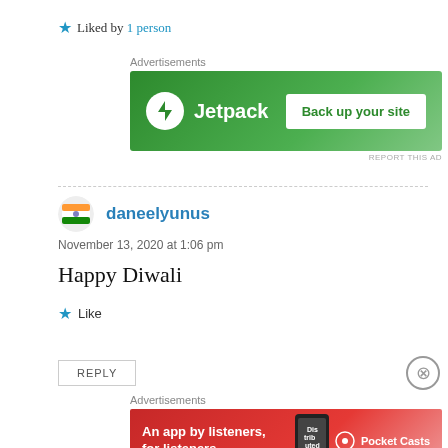★ Liked by 1 person
[Figure (other): Jetpack advertisement banner: green background with Jetpack logo and 'Back up your site' button]
daneelyunus
November 13, 2020 at 1:06 pm
Happy Diwali
★ Like
REPLY
[Figure (other): Pocket Casts advertisement banner: red background with 'An app by listeners, for listeners.' text and Pocket Casts logo]